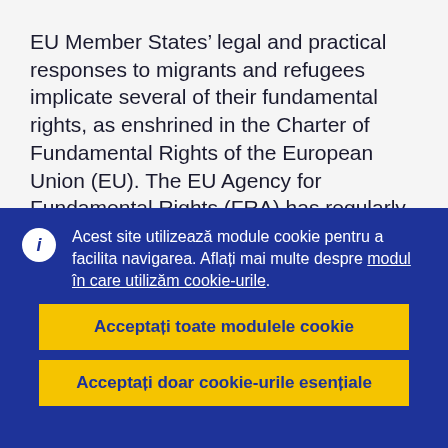EU Member States' legal and practical responses to migrants and refugees implicate several of their fundamental rights, as enshrined in the Charter of Fundamental Rights of the European Union (EU). The EU Agency for Fundamental Rights (FRA) has regularly reported on these issues since September 2015. This report highlights key trends and persistent concerns between October 2016 and December 2017. It focuses on five areas: access to territory, reception conditions, asylum procedures...
Acest site utilizează module cookie pentru a facilita navigarea. Aflați mai multe despre modul în care utilizăm cookie-urile.
Acceptați toate modulele cookie
Acceptați doar cookie-urile esențiale